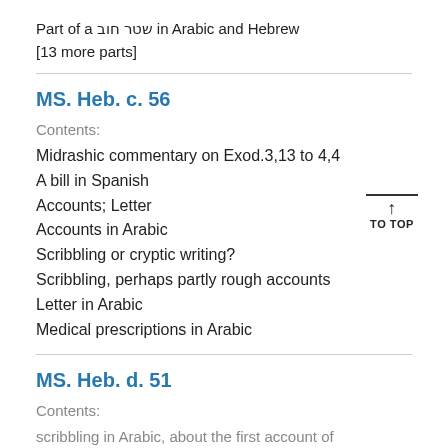Part of a שטר חוב in Arabic and Hebrew [13 more parts]
MS. Heb. c. 56
Contents:
Midrashic commentary on Exod.3,13 to 4,4
A bill in Spanish
Accounts; Letter
Accounts in Arabic
Scribbling or cryptic writing?
Scribbling, perhaps partly rough accounts
Letter in Arabic
Medical prescriptions in Arabic
MS. Heb. d. 51
Contents:
scribbling in Arabic, about the first account of